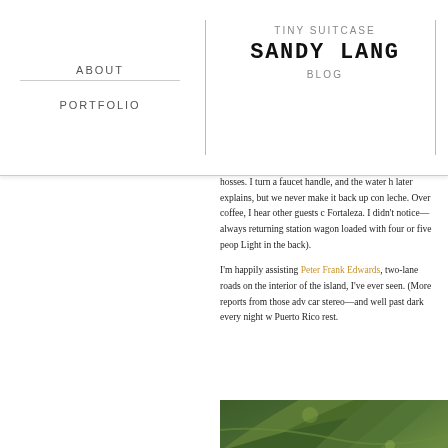TINY SUITCASE | SANDY LANG | BLOG
ABOUT
PORTFOLIO
hosses. I turn a faucet handle, and the water h... later explains, but we never make it back up... con leche. Over coffee, I hear other guests c... Fortaleza. I didn't notice—always returning... station wagon loaded with four or five peop... Light in the back).
I'm happily assisting Peter Frank Edwards, two-lane roads on the interior of the island, I've ever seen. (More reports from those adv... car stereo—and well past dark every night v... Puerto Rico rest.
[Figure (photo): Close-up photograph of green tropical palm fronds/leaves]